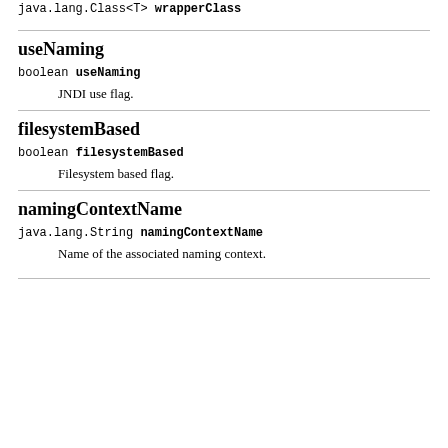java.lang.Class<T> wrapperClass
useNaming
boolean useNaming
JNDI use flag.
filesystemBased
boolean filesystemBased
Filesystem based flag.
namingContextName
java.lang.String namingContextName
Name of the associated naming context.